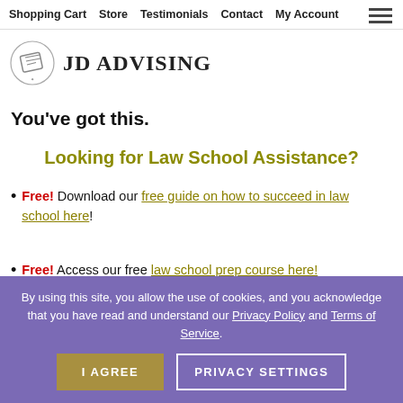Shopping Cart  Store  Testimonials  Contact  My Account
[Figure (logo): JD Advising logo with scroll icon and text 'JD ADVISING']
You've got this.
Looking for Law School Assistance?
Free! Download our free guide on how to succeed in law school here!
Free! Access our free law school prep course here!
By using this site, you allow the use of cookies, and you acknowledge that you have read and understand our Privacy Policy and Terms of Service.
I AGREE  PRIVACY SETTINGS